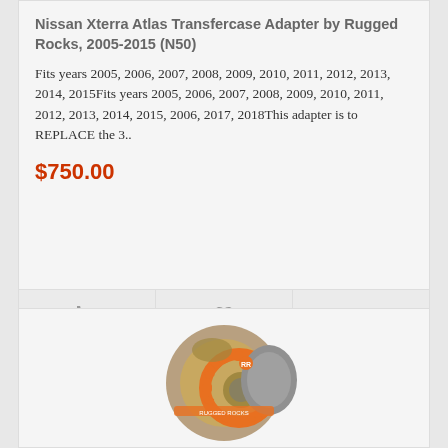Nissan Xterra Atlas Transfercase Adapter by Rugged Rocks, 2005-2015 (N50)
Fits years 2005, 2006, 2007, 2008, 2009, 2010, 2011, 2012, 2013, 2014, 2015Fits years 2005, 2006, 2007, 2008, 2009, 2010, 2011, 2012, 2013, 2014, 2015, 2006, 2017, 2018This adapter is to REPLACE the 3..
$750.00
[Figure (photo): Orange and silver automotive alternator/gear component by Rugged Rocks]